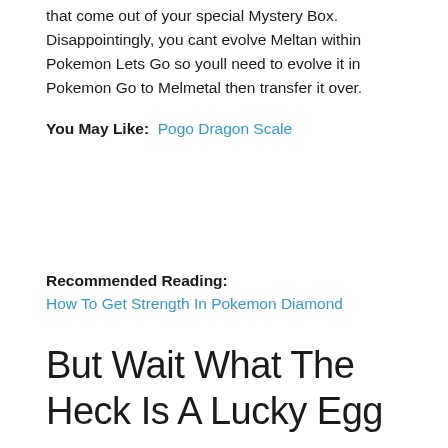that come out of your special Mystery Box. Disappointingly, you cant evolve Meltan within Pokemon Lets Go so youll need to evolve it in Pokemon Go to Melmetal then transfer it over.
You May Like:  Pogo Dragon Scale
Recommended Reading: How To Get Strength In Pokemon Diamond
But Wait What The Heck Is A Lucky Egg